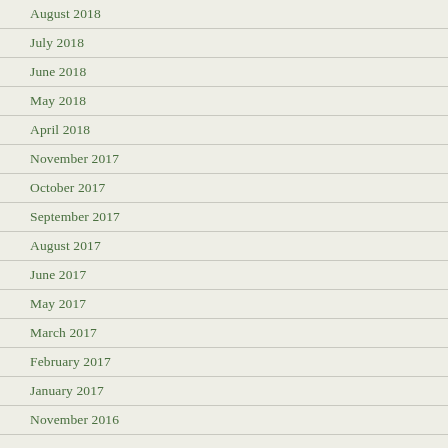August 2018
July 2018
June 2018
May 2018
April 2018
November 2017
October 2017
September 2017
August 2017
June 2017
May 2017
March 2017
February 2017
January 2017
November 2016